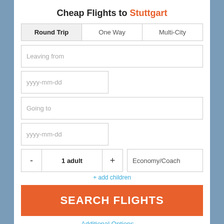Cheap Flights to Stuttgart
Round Trip | One Way | Multi-City
Leaving from
yyyy-mm-dd
Going to
yyyy-mm-dd
- 1 adult + Economy/Coach
+ add children
SEARCH FLIGHTS
Additional Options ∨